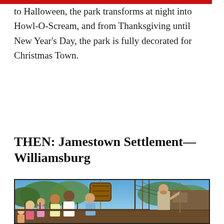to Halloween, the park transforms at night into Howl-O-Scream, and from Thanksgiving until New Year's Day, the park is fully decorated for Christmas Town.
THEN: Jamestown Settlement—Williamsburg
[Figure (photo): Outdoor historical reenactment scene at Jamestown Settlement in Williamsburg. A bearded man in period clothing stands on the right holding rigging ropes on a tall ship. A group of visitors including children and adults stand to the left watching. A large wooden barrel is suspended by ropes overhead. Tall ship masts and rigging are visible in the background against a blue sky with green trees.]